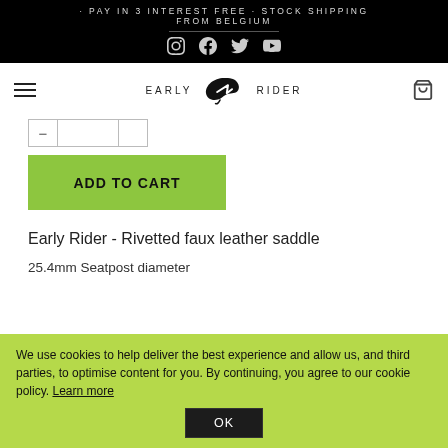PAY IN 3 INTEREST FREE · STOCK SHIPPING FROM BELGIUM
[Figure (logo): Early Rider brand logo with stylized arrow icon and text EARLY RIDER]
ADD TO CART
Early Rider - Rivetted faux leather saddle
25.4mm Seatpost diameter
We use cookies to help deliver the best experience and allow us, and third parties, to optimise content for you. By continuing, you agree to our cookie policy. Learn more
OK